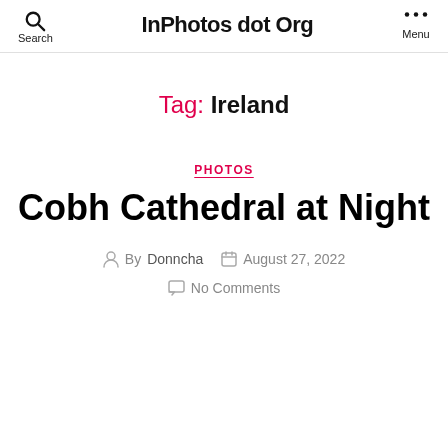InPhotos dot Org   Search   Menu
Tag: Ireland
PHOTOS
Cobh Cathedral at Night
By Donncha   August 27, 2022
No Comments